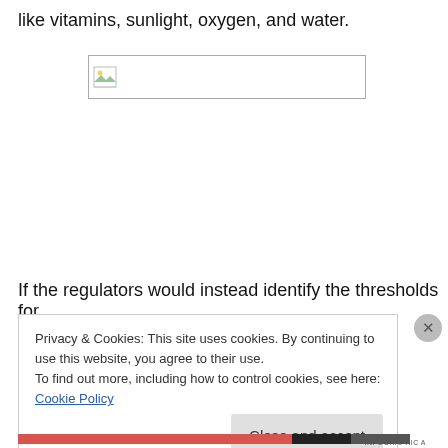like vitamins, sunlight, oxygen, and water.
[Figure (other): Broken image placeholder icon with a rectangle outline]
If the regulators would instead identify the thresholds for
Privacy & Cookies: This site uses cookies. By continuing to use this website, you agree to their use.
To find out more, including how to control cookies, see here: Cookie Policy

[Close and accept]